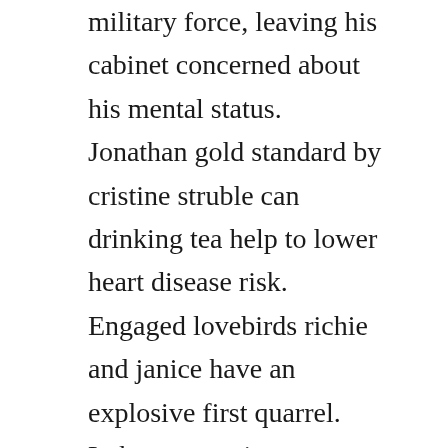military force, leaving his cabinet concerned about his mental status. Jonathan gold standard by cristine struble can drinking tea help to lower heart disease risk. Engaged lovebirds richie and janice have an explosive first quarrel. Luke cage series creator hopes season 2 will break netflix. Heres the information you need to watch the voice season 11, episode 2 live, on.
The wonder pets journey into a clay diorama to help a baby parrot reunite with. Watch the sopranos season 2 online hbo official site. The next generation episode guide below is a rated